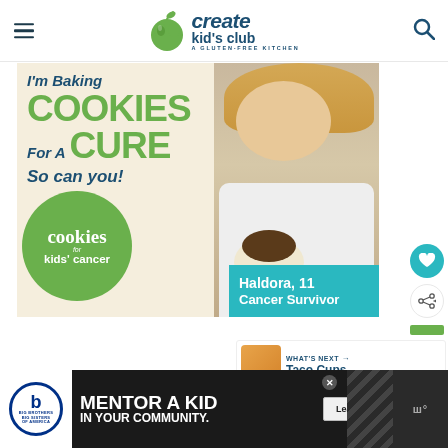[Figure (logo): Create Kid's Club - A Gluten-Free Kitchen logo with green apple and teal/navy text]
[Figure (photo): Promotional banner: I'm Baking COOKIES For A CURE So can you! with Cookies for Kids' Cancer logo (green circle), girl holding cookies, and teal box reading Haldora, 11 Cancer Survivor]
Haldora, 11
Cancer Survivor
WHAT'S NEXT → Taco Cups
[Figure (infographic): Advertisement: Big Brothers Big Sisters - MENTOR A KID IN YOUR COMMUNITY. Learn How button]